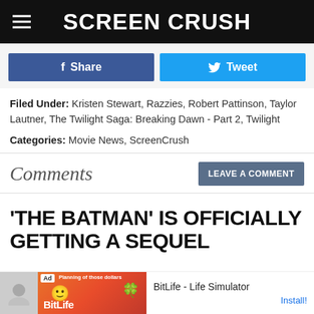Screen Crush
f Share | Tweet
Filed Under: Kristen Stewart, Razzies, Robert Pattinson, Taylor Lautner, The Twilight Saga: Breaking Dawn - Part 2, Twilight
Categories: Movie News, ScreenCrush
Comments
'THE BATMAN' IS OFFICIALLY GETTING A SEQUEL
Ad BitLife - Life Simulator Install!